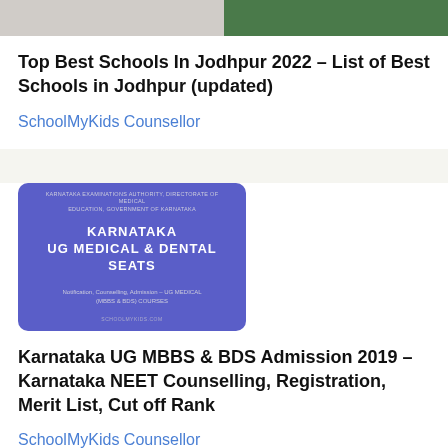[Figure (photo): Two images side by side: left shows a school/office building, right shows greenery/landscape]
Top Best Schools In Jodhpur 2022 – List of Best Schools in Jodhpur (updated)
SchoolMyKids Counsellor
[Figure (infographic): Blue/purple banner for Karnataka UG Medical & Dental Seats with MBBS & BDS courses notification]
Karnataka UG MBBS & BDS Admission 2019 – Karnataka NEET Counselling, Registration, Merit List, Cut off Rank
SchoolMyKids Counsellor